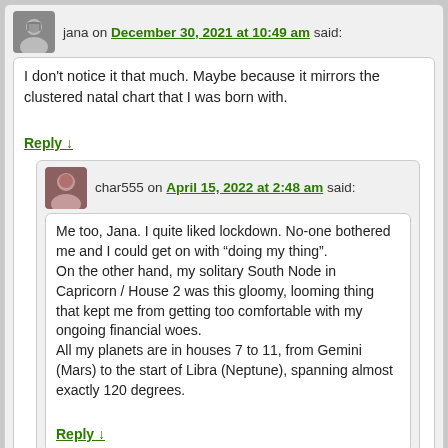jana on December 30, 2021 at 10:49 am said:
I don’t notice it that much. Maybe because it mirrors the clustered natal chart that I was born with.
Reply ↓
char555 on April 15, 2022 at 2:48 am said:
Me too, Jana. I quite liked lockdown. No-one bothered me and I could get on with “doing my thing”.
On the other hand, my solitary South Node in Capricorn / House 2 was this gloomy, looming thing that kept me from getting too comfortable with my ongoing financial woes.
All my planets are in houses 7 to 11, from Gemini (Mars) to the start of Libra (Neptune), spanning almost exactly 120 degrees.
Reply ↓
Pan on December 31, 2021 at 1:13 pm said:
You should check out something called the Buttonwood Chart. A chart of the meeting under a buttonwood tree that launched